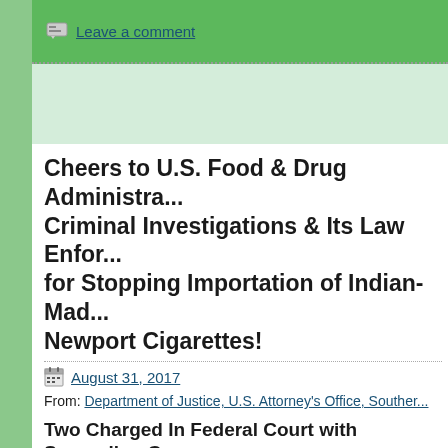Leave a comment
Cheers to U.S. Food & Drug Administration's Office of Criminal Investigations & Its Law Enforcement Partners for Stopping Importation of Indian-Made Counterfeit Newport Cigarettes!
August 31, 2017
From: Department of Justice, U.S. Attorney's Office, Southern...
Two Charged In Federal Court with Smuggling Co...
Benjamin G. Greenberg, Acting United States Attorney for the... Justin D. Green, Special Agent in Charge, U.S. Food & Drug Administration Office of Criminal Investigations (FDA OCI), Miami Field Office; Mark S... Charge, U.S. Immigration and Customs Enforcement's Home... (ICE-HSI), Miami Field Office; and Scott Israel, Sheriff, Browa... (BSO), announced that Abhishek Shukla and Harish Shabh... India, appeared in Federal District Court in Miami today to be...